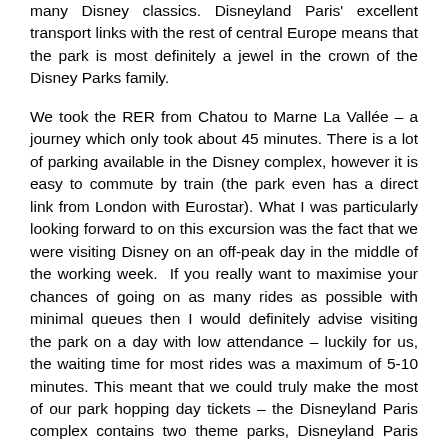many Disney classics. Disneyland Paris' excellent transport links with the rest of central Europe means that the park is most definitely a jewel in the crown of the Disney Parks family.
We took the RER from Chatou to Marne La Vallée – a journey which only took about 45 minutes. There is a lot of parking available in the Disney complex, however it is easy to commute by train (the park even has a direct link from London with Eurostar). What I was particularly looking forward to on this excursion was the fact that we were visiting Disney on an off-peak day in the middle of the working week.  If you really want to maximise your chances of going on as many rides as possible with minimal queues then I would definitely advise visiting the park on a day with low attendance – luckily for us, the waiting time for most rides was a maximum of 5-10 minutes. This meant that we could truly make the most of our park hopping day tickets – the Disneyland Paris complex contains two theme parks, Disneyland Paris (est.1992) and Walt Disney Studios (est. 2001), as well as a Disney Village full of